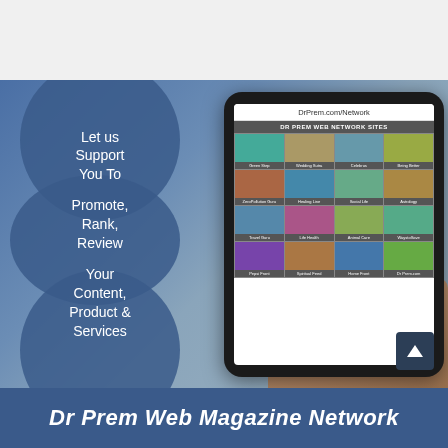[Figure (infographic): Dr Prem Web Magazine Network advertisement showing a tablet device displaying DrPrem.com/Network website with grid of category images, overlaid on blue background with text: 'Let us Support You To / Promote, Rank, Review / Your Content, Product & Services']
Dr Prem Web Magazine Network